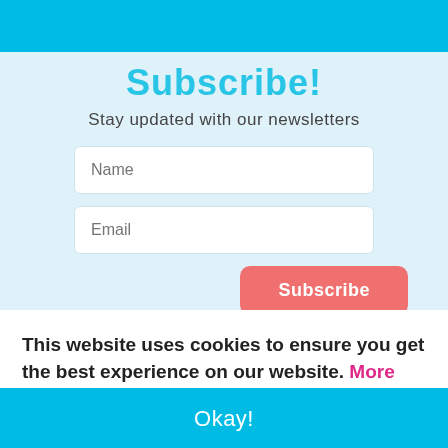[Figure (screenshot): Blue header bar at top of subscribe widget]
Subscribe!
Stay updated with our newsletters
Name
Email
Subscribe
This website uses cookies to ensure you get the best experience on our website. More info
Okay!